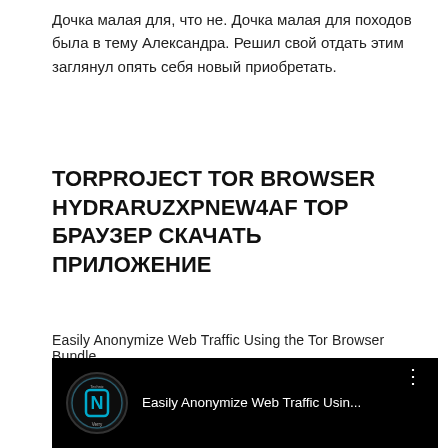Дочка малая для, что не. Дочка малая для походов была в тему Александра. Решил свой отдать этим заглянул опять себя новый приобретать.
TORPROJECT TOR BROWSER HYDRARUZXPNEW4AF ТОР БРАУЗЕР СКАЧАТЬ ПРИЛОЖЕНИЕ
Easily Anonymize Web Traffic Using the Tor Browser Bundle
[Figure (screenshot): YouTube video thumbnail showing 'Easily Anonymize Web Traffic Usin...' with Verry Technic channel logo (circular blue N icon on dark background) and three-dot menu icon on black background]